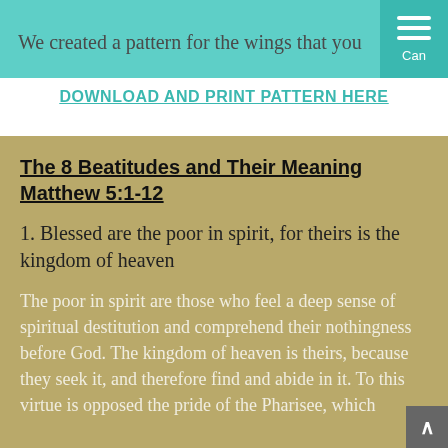We created a pattern for the wings that you can
DOWNLOAD AND PRINT PATTERN HERE
The 8 Beatitudes and Their Meaning Matthew 5:1-12
1. Blessed are the poor in spirit, for theirs is the kingdom of heaven
The poor in spirit are those who feel a deep sense of spiritual destitution and comprehend their nothingness before God. The kingdom of heaven is theirs, because they seek it, and therefore find and abide in it. To this virtue is opposed the pride of the Pharisee, which